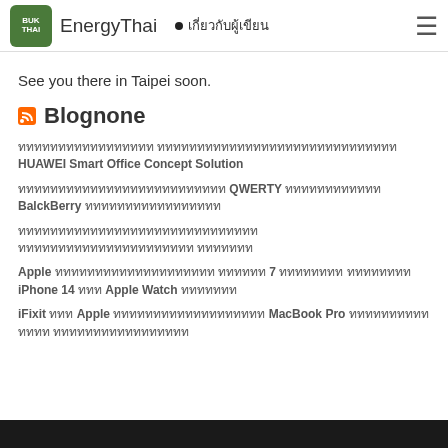EnergyThai • เกี่ยวกับผู้เขียน
See you there in Taipei soon.
Blognone
ททททททททททททททททท ทททททททททททททททททททททททททททททท HUAWEI Smart Office Concept Solution
ทททททททททททททททททททททททททท QWERTY ทททททททททททท BalckBerry ททททททททททททททททท
ทททททททททททททททททททททททททททททท ทททททททททททททททททททททท ททททททท
Apple ทททททททททททททททททททท ทททททท 7 ทททททททท ทททททททท iPhone 14 ททท Apple Watch ททททททท
iFixit ททท Apple ททททททททททททททททททท MacBook Pro ทททททททททท ทททท ททททททททททททททททท